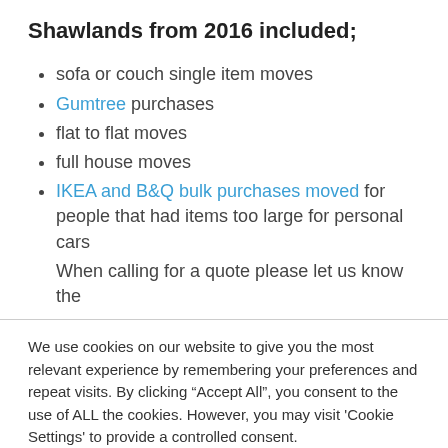Shawlands from 2016 included;
sofa or couch single item moves
Gumtree purchases
flat to flat moves
full house moves
IKEA and B&Q bulk purchases moved for people that had items too large for personal cars
When calling for a quote please let us know the
We use cookies on our website to give you the most relevant experience by remembering your preferences and repeat visits. By clicking “Accept All”, you consent to the use of ALL the cookies. However, you may visit 'Cookie Settings' to provide a controlled consent.
Cookie Settings | Accept All